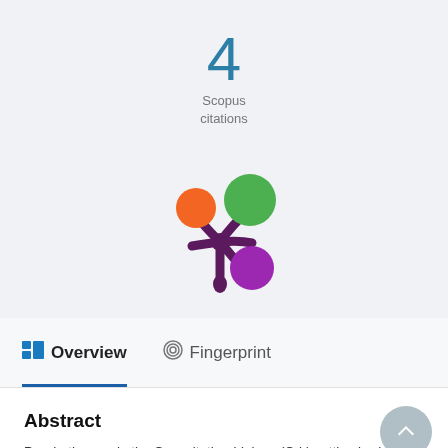4
Scopus
citations
[Figure (logo): Altmetric donut-style logo with colorful circles (orange, green, purple) on dark purple spiderweb/asterisk shape]
Overview
Fingerprint
Abstract
Psychotherapy in the Consultation-Liaison (C-L) setting is shaped by the realities of the patient's situation, since all patients